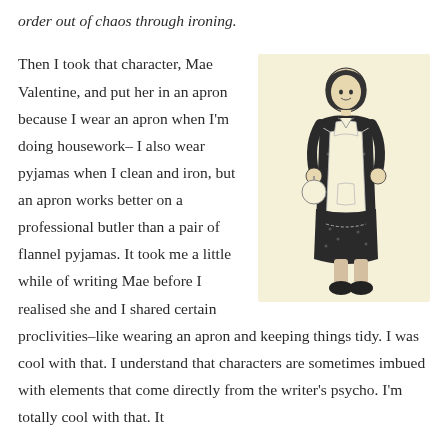order out of chaos through ironing.
[Figure (illustration): Vintage line drawing illustration of a woman in a 1920s style dress wearing a white apron, standing in a three-quarter pose on a cream/light yellow background.]
Then I took that character, Mae Valentine, and put her in an apron because I wear an apron when I'm doing housework– I also wear pyjamas when I clean and iron, but an apron works better on a professional butler than a pair of flannel pyjamas. It took me a little while of writing Mae before I realised she and I shared certain proclivities–like wearing an apron and keeping things tidy. I was cool with that. I understand that characters are sometimes imbued with elements that come directly from the writer's psycho. I'm totally cool with that. It